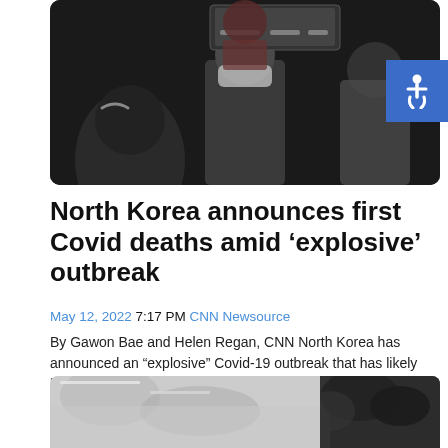[Figure (photo): People wearing masks in what appears to be a subway or public space, dark toned image with a TV screen visible in background]
North Korea announces first Covid deaths amid ‘explosive’ outbreak
May 12, 2022 7:17 PM CNN Newsource
By Gawon Bae and Helen Regan, CNN North Korea has announced an “explosive” Covid-19 outbreak that has likely killed six people and…
Continue Reading
[Figure (photo): Black and white outdoor scene, partially visible, appears to be trees or foliage]